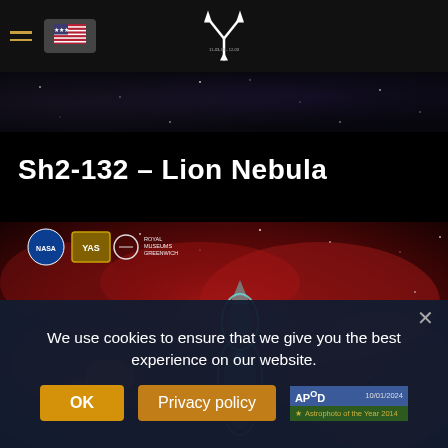Navigation header with hamburger menu, US flag, and site logo
[Figure (photo): Dark nebula strip at top of page — deep space background]
Sh2-132 – Lion Nebula
[Figure (photo): Sh2-132 Lion Nebula astrophotography image — vivid red hydrogen-alpha emission nebula with a prominent cyan/blue OIII structure resembling a lion or figure in the center. NASA, YAS, and Royal Museums Greenwich logos visible in upper left.]
We use cookies to ensure that we give you the best experience on our website.